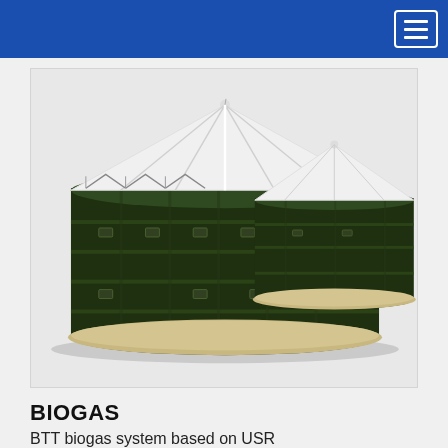[Figure (photo): Industrial biogas storage tanks — two large dark green cylindrical bolted steel tanks with white membrane roofs, viewed from a slight angle. The larger tank is in the foreground-left, a smaller tank to the right rear. Tanks have multiple bolt-ring courses and white support cables from the roof apex.]
BIOGAS
BTT biogas system based on USR